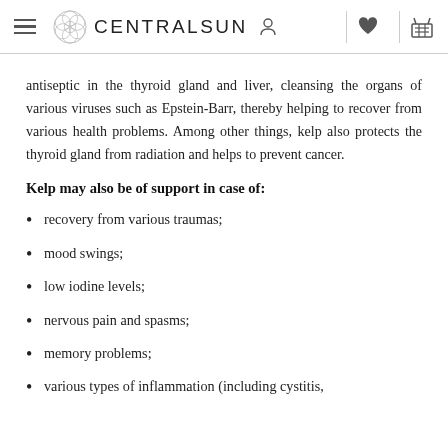CENTRALSUN
antiseptic in the thyroid gland and liver, cleansing the organs of various viruses such as Epstein-Barr, thereby helping to recover from various health problems. Among other things, kelp also protects the thyroid gland from radiation and helps to prevent cancer.
Kelp may also be of support in case of:
recovery from various traumas;
mood swings;
low iodine levels;
nervous pain and spasms;
memory problems;
various types of inflammation (including cystitis,